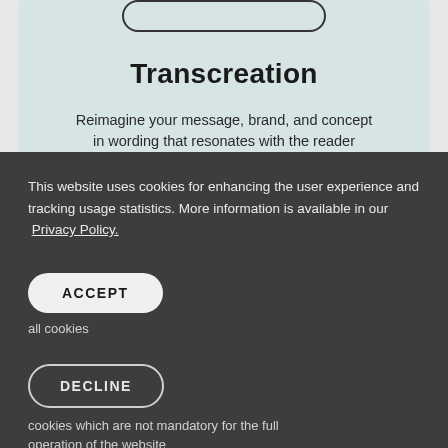[Figure (screenshot): Partial view of a webpage card with rounded corners in light teal/green color, showing a 'Transcreation' section header and partial body text about reimagining messages]
Transcreation
Reimagine your message, brand, and concept in wording that resonates with the reader
This website uses cookies for enhancing the user experience and tracking usage statistics. More information is available in our Privacy Policy.
ACCEPT
all cookies
LEARN MORE
DECLINE
cookies which are not mandatory for the full operation of the website